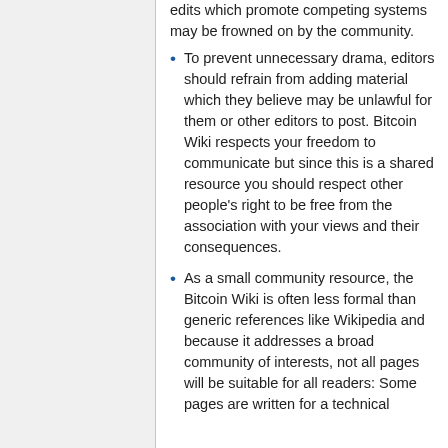edits which promote competing systems may be frowned on by the community.
To prevent unnecessary drama, editors should refrain from adding material which they believe may be unlawful for them or other editors to post. Bitcoin Wiki respects your freedom to communicate but since this is a shared resource you should respect other people's right to be free from the association with your views and their consequences.
As a small community resource, the Bitcoin Wiki is often less formal than generic references like Wikipedia and because it addresses a broad community of interests, not all pages will be suitable for all readers: Some pages are written for a technical